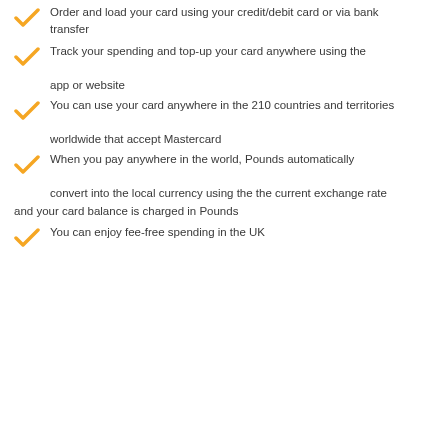Order and load your card using your credit/debit card or via bank transfer
Track your spending and top-up your card anywhere using the app or website
You can use your card anywhere in the 210 countries and territories worldwide that accept Mastercard
When you pay anywhere in the world, Pounds automatically convert into the local currency using the the current exchange rate and your card balance is charged in Pounds
You can enjoy fee-free spending in the UK